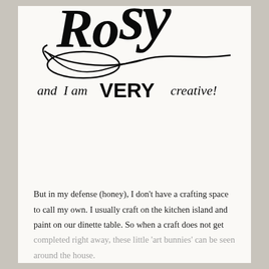[Figure (illustration): Decorative typographic logo/text art showing cursive and mixed-style lettering. Large decorative cursive letters at top, then 'and I am VERY creative!' in mixed serif and display fonts.]
But in my defense (honey), I don't have a crafting space to call my own. I usually craft on the kitchen island and paint on our dinette table. So when a craft does not get completed right away, these little 'art bunnies' can be seen around the house.